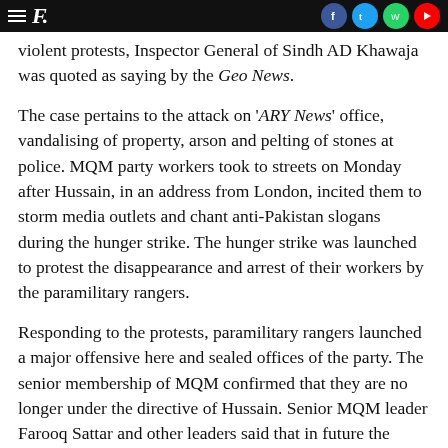F. [social icons: Facebook, Twitter, WhatsApp, YouTube]
violent protests, Inspector General of Sindh AD Khawaja was quoted as saying by the Geo News.
The case pertains to the attack on 'ARY News' office, vandalising of property, arson and pelting of stones at police. MQM party workers took to streets on Monday after Hussain, in an address from London, incited them to storm media outlets and chant anti-Pakistan slogans during the hunger strike. The hunger strike was launched to protest the disappearance and arrest of their workers by the paramilitary rangers.
Responding to the protests, paramilitary rangers launched a major offensive here and sealed offices of the party. The senior membership of MQM confirmed that they are no longer under the directive of Hussain. Senior MQM leader Farooq Sattar and other leaders said that in future the party would operate from Pakistan alone and that all decisions would be taken by the leadership in Pakistan and not from London from where Hussain has controlled the MQM for years now.